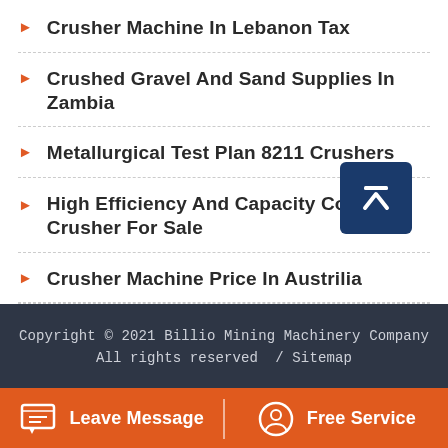Crusher Machine In Lebanon Tax
Crushed Gravel And Sand Supplies In Zambia
Metallurgical Test Plan 8211 Crushers
High Efficiency And Capacity Concrete Crusher For Sale
Crusher Machine Price In Austrilia
Copyright © 2021 Billio Mining Machinery Company All rights reserved  / Sitemap
Leave Message   Free Service